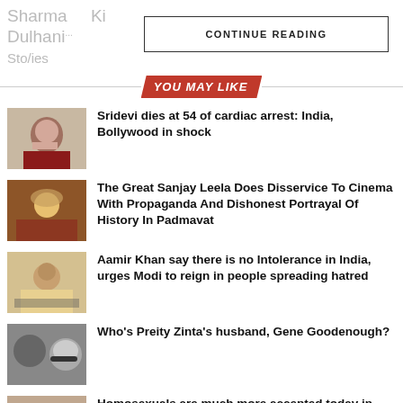Sharma Ki Dulhania Stories
CONTINUE READING
YOU MAY LIKE
Sridevi dies at 54 of cardiac arrest: India, Bollywood in shock
The Great Sanjay Leela Does Disservice To Cinema With Propaganda And Dishonest Portrayal Of History In Padmavat
Aamir Khan say there is no Intolerance in India, urges Modi to reign in people spreading hatred
Who's Preity Zinta's husband, Gene Goodenough?
Homosexuals are much more accepted today in India: Actor Manoj Bajpayee
Bollywood movie 'Airlift' mints Rs 12.05...